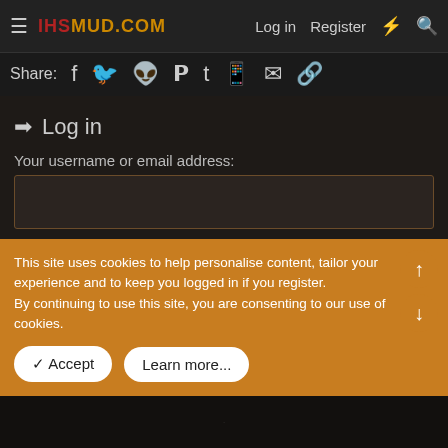IHSMUD.COM  Log in  Register
Share:
Log in
Your username or email address:
Password:
This site uses cookies to help personalise content, tailor your experience and to keep you logged in if you register. By continuing to use this site, you are consenting to our use of cookies.
Accept  Learn more...